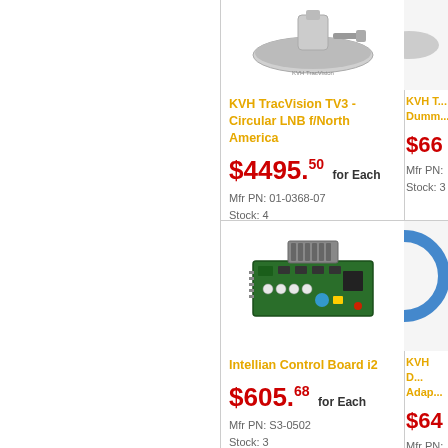[Figure (photo): KVH TracVision TV3 satellite antenna product image (top portion visible)]
KVH TracVision TV3 - Circular LNB f/North America
$4495.50 for Each
Mfr PN: 01-0368-07
Stock: 4
[Figure (photo): Partial product image on right side top (KVH product, partially visible)]
KVH T... Dumm...
$66... 
Mfr PN: ...
Stock: 3
[Figure (photo): Intellian Control Board i2 - green circuit board with components]
Intellian Control Board i2
$605.68 for Each
Mfr PN: S3-0502
Stock: 3
[Figure (photo): KVH D... Adap... partially visible product image on right]
KVH D... Adap...
$64...
Mfr PN: ...
Stock: 2